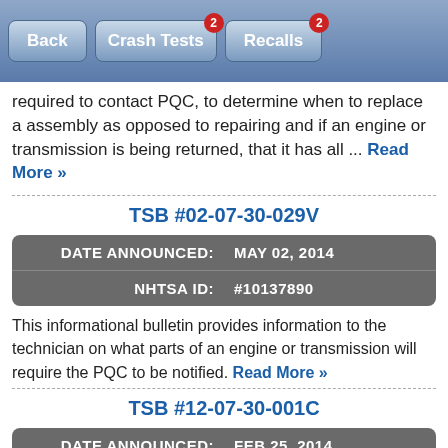Back | Crash Tests (2) | Recalls (2)
required to contact PQC, to determine when to replace a assembly as opposed to repairing and if an engine or transmission is being returned, that it has all ... Read More »
TSB #02-07-30-029V
|  |  |
| --- | --- |
| DATE ANNOUNCED: | MAY 02, 2014 |
| NHTSA ID: | #10137890 |
This informational bulletin provides information to the technician on what parts of an engine or transmission will require the PQC to be notified. Read More »
TSB #12-07-30-001C
|  |  |
| --- | --- |
| DATE ANNOUNCED: | FEB 25, 2014 |
| NHTSA ID: | #10138646 |
This informational bulletin provides a